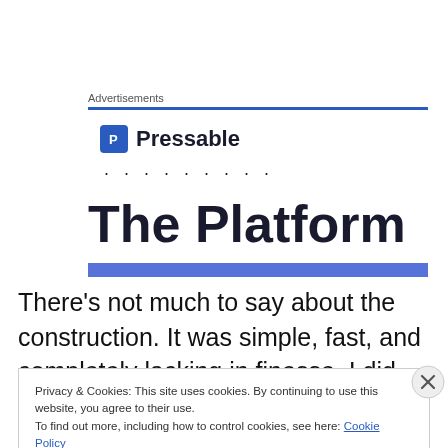Advertisements
[Figure (logo): Pressable logo with blue square icon containing letter P and the word Pressable in bold dark text, followed by a row of dots]
The Platform
There’s not much to say about the construction. It was simple, fast, and completely lacking in finesse. I did
Privacy & Cookies: This site uses cookies. By continuing to use this website, you agree to their use.
To find out more, including how to control cookies, see here: Cookie Policy